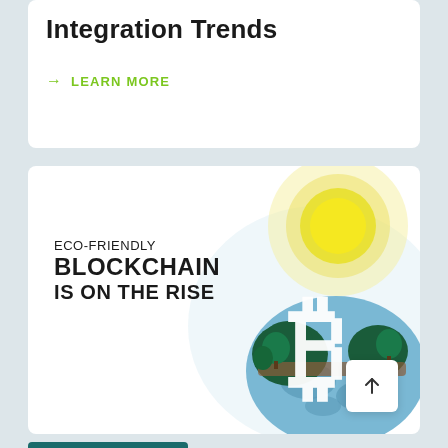Integration Trends
→ LEARN MORE
[Figure (illustration): Eco-friendly blockchain illustration: a globe with green land and blue ocean, a large white Bitcoin symbol overlaid, green trees, and a bright yellow sun with rays in the background. Text reads: ECO-FRIENDLY BLOCKCHAIN IS ON THE RISE. A white scroll-to-top button with an upward arrow appears in the bottom-right corner.]